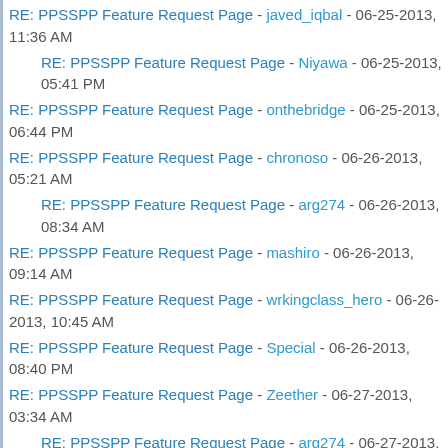RE: PPSSPP Feature Request Page - javed_iqbal - 06-25-2013, 11:36 AM
RE: PPSSPP Feature Request Page - Niyawa - 06-25-2013, 05:41 PM
RE: PPSSPP Feature Request Page - onthebridge - 06-25-2013, 06:44 PM
RE: PPSSPP Feature Request Page - chronoso - 06-26-2013, 05:21 AM
RE: PPSSPP Feature Request Page - arg274 - 06-26-2013, 08:34 AM
RE: PPSSPP Feature Request Page - mashiro - 06-26-2013, 09:14 AM
RE: PPSSPP Feature Request Page - wrkingclass_hero - 06-26-2013, 10:45 AM
RE: PPSSPP Feature Request Page - Special - 06-26-2013, 08:40 PM
RE: PPSSPP Feature Request Page - Zeether - 06-27-2013, 03:34 AM
RE: PPSSPP Feature Request Page - arg274 - 06-27-2013, 12:26 PM
RE: PPSSPP Feature Request Page - xemnas - 06-27-2013, 02:26 PM
RE: PPSSPP Feature Request Page - arg274 - 06-27-2013, 03:01 PM
RE: PPSSPP Feature Request Page - Squall Leonhart - 06-27-2013, 03:04 PM
RE: PPSSPP Feature Request Page - xemnas - 06-27-2013, 03:42 PM
RE: PPSSPP Feature Request Page - xZabuzax - 06-27-2013, 05:50 PM